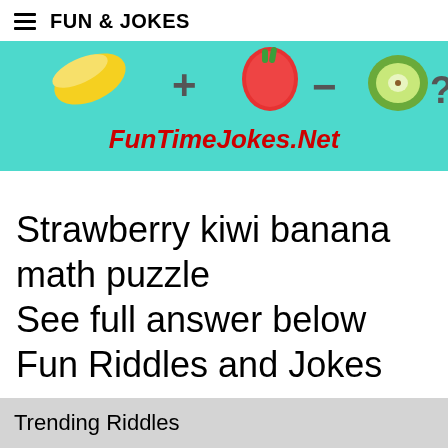FUN & JOKES
[Figure (illustration): Colorful banner with teal/cyan background showing fruit illustrations (banana, strawberry, kiwi) and math symbols, with the site name FunTimeJokes.Net in bold red italic text]
Strawberry kiwi banana math puzzle
See full answer below
Fun Riddles and Jokes
Trending Riddles